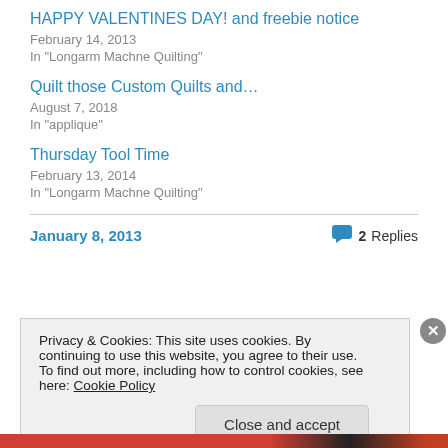HAPPY VALENTINES DAY! and freebie notice
February 14, 2013
In "Longarm Machne Quilting"
Quilt those Custom Quilts and…
August 7, 2018
In "applique"
Thursday Tool Time
February 13, 2014
In "Longarm Machne Quilting"
January 8, 2013
2 Replies
Privacy & Cookies: This site uses cookies. By continuing to use this website, you agree to their use.
To find out more, including how to control cookies, see here: Cookie Policy
Close and accept